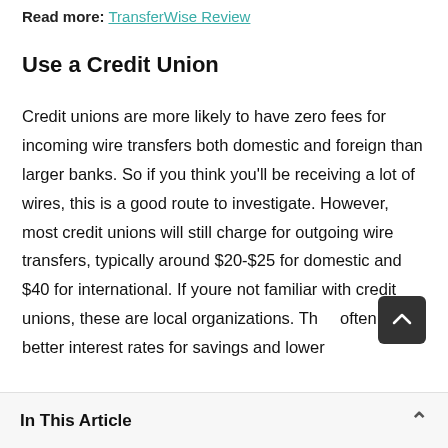Read more: TransferWise Review
Use a Credit Union
Credit unions are more likely to have zero fees for incoming wire transfers both domestic and foreign than larger banks. So if you think you’ll be receiving a lot of wires, this is a good route to investigate. However, most credit unions will still charge for outgoing wire transfers, typically around $20-$25 for domestic and $40 for international. If youre not familiar with credit unions, these are local organizations. They often have better interest rates for savings and lower
In This Article